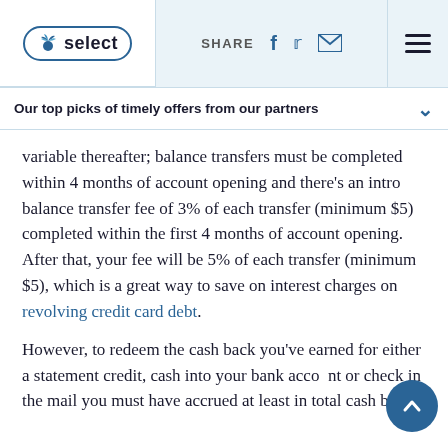NBC Select | SHARE
Our top picks of timely offers from our partners
variable thereafter; balance transfers must be completed within 4 months of account opening and there’s an intro balance transfer fee of 3% of each transfer (minimum $5) completed within the first 4 months of account opening. After that, your fee will be 5% of each transfer (minimum $5), which is a great way to save on interest charges on revolving credit card debt.
However, to redeem the cash back you’ve earned for either a statement credit, cash into your bank account or check in the mail you must have accrued at least in total cash back.